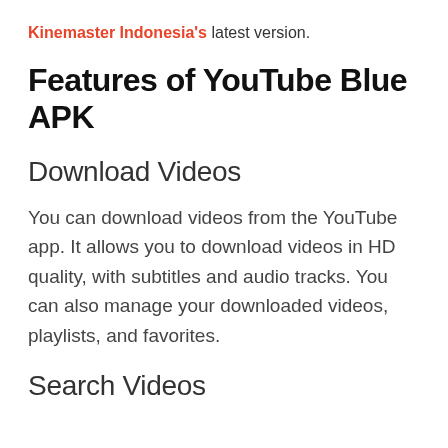Kinemaster Indonesia's latest version.
Features of YouTube Blue APK
Download Videos
You can download videos from the YouTube app. It allows you to download videos in HD quality, with subtitles and audio tracks. You can also manage your downloaded videos, playlists, and favorites.
Search Videos